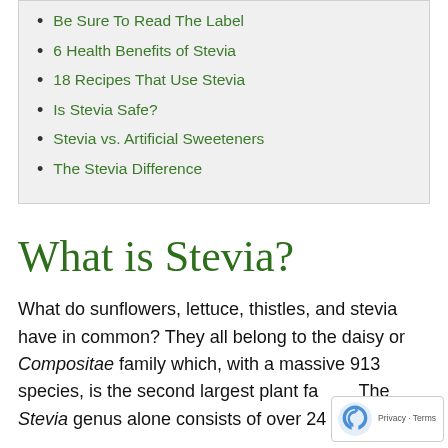Be Sure To Read The Label
6 Health Benefits of Stevia
18 Recipes That Use Stevia
Is Stevia Safe?
Stevia vs. Artificial Sweeteners
The Stevia Difference
What is Stevia?
What do sunflowers, lettuce, thistles, and stevia have in common? They all belong to the daisy or Compositae family which, with a massive 913 species, is the second largest plant family. The Stevia genus alone consists of over 240